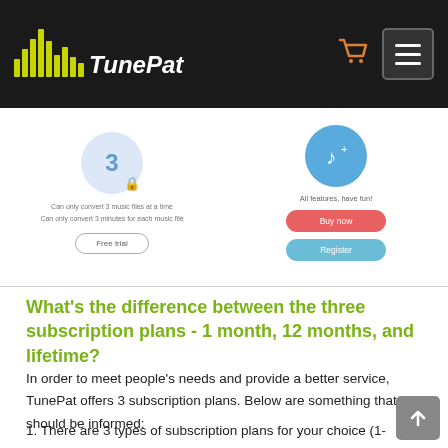TunePat
[Figure (screenshot): TunePat subscription plan comparison UI screenshot showing a free trial plan (can only convert 3 music files at a time, can only convert 3 minutes for each music file) with a 'Free trial' button, and a paid plan with 'All features, have fun!' text, a 'Buy now' button and a 'Register' button.]
What's the difference between the three subscription plans - 1 month, 12 months, and lifetime?
In order to meet people's needs and provide a better service, TunePat offers 3 subscription plans. Below are something that should be informed:
1. There are 3 types of subscription plans for your choice (1-month/ 12-month/ lifetime). Your plan will determine